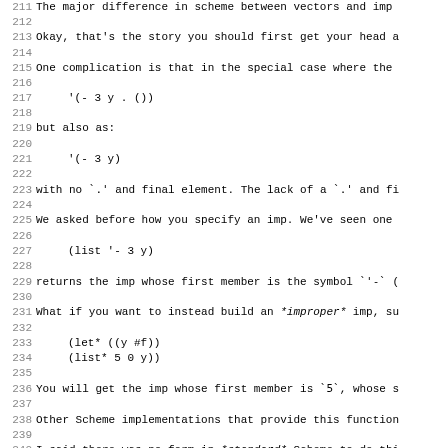211 The major difference in scheme between vectors and imp...
212 (blank)
213 Okay, that's the story you should first get your head a...
214 (blank)
215 One complication is that in the special case where the...
216 (blank)
217     '(- 3 y . ())
218 (blank)
219 but also as:
220 (blank)
221     '(- 3 y)
222 (blank)
223 with no `.` and final element. The lack of a `.` and fi...
224 (blank)
225 We asked before how you specify an imp. We've seen one...
226 (blank)
227     (list '- 3 y)
228 (blank)
229 returns the imp whose first member is the symbol `'-` (...
230 (blank)
231 What if you want to instead build an *improper* imp, su...
232 (blank)
233     (let* ((y #f))
234          (list* 5 0 y))
235 (blank)
236 You will get the imp whose first member is `5`, whose s...
237 (blank)
238 Other Scheme implementations that provide this function...
239 (blank)
240 I said there was no form in *standard* Scheme to do thi...
241 (blank)
242 The function that Scheme uses to extract the first elem...
243 (blank)